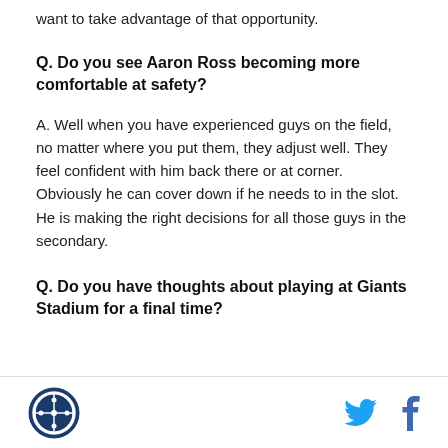want to take advantage of that opportunity.
Q. Do you see Aaron Ross becoming more comfortable at safety?
A. Well when you have experienced guys on the field, no matter where you put them, they adjust well. They feel confident with him back there or at corner. Obviously he can cover down if he needs to in the slot. He is making the right decisions for all those guys in the secondary.
Q. Do you have thoughts about playing at Giants Stadium for a final time?
Logo and social media icons